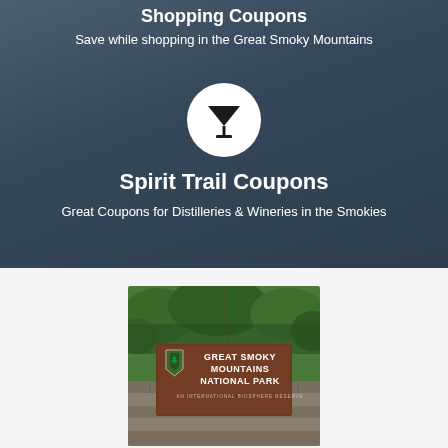Shopping Coupons
Save while shopping in the Great Smoky Mountains
[Figure (illustration): White circle icon with a martini/cocktail glass silhouette in black]
Spirit Trail Coupons
Great Coupons for Distilleries & Wineries in the Smokies
[Figure (photo): Photograph of the Great Smoky Mountains National Park entrance sign on a stone wall, with green trees in the background. Sign reads: GREAT SMOKY MOUNTAINS NATIONAL PARK AN INTERNATIONAL BIOSPHERE RESERVE]